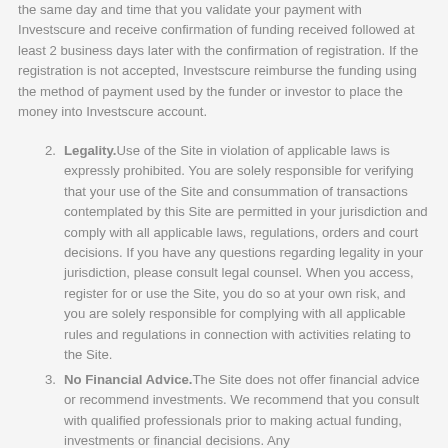the same day and time that you validate your payment with Investscure and receive confirmation of funding received followed at least 2 business days later with the confirmation of registration. If the registration is not accepted, Investscure reimburse the funding using the method of payment used by the funder or investor to place the money into Investscure account.
Legality. Use of the Site in violation of applicable laws is expressly prohibited. You are solely responsible for verifying that your use of the Site and consummation of transactions contemplated by this Site are permitted in your jurisdiction and comply with all applicable laws, regulations, orders and court decisions. If you have any questions regarding legality in your jurisdiction, please consult legal counsel. When you access, register for or use the Site, you do so at your own risk, and you are solely responsible for complying with all applicable rules and regulations in connection with activities relating to the Site.
No Financial Advice. The Site does not offer financial advice or recommend investments. We recommend that you consult with qualified professionals prior to making actual funding, investments or financial decisions. Any